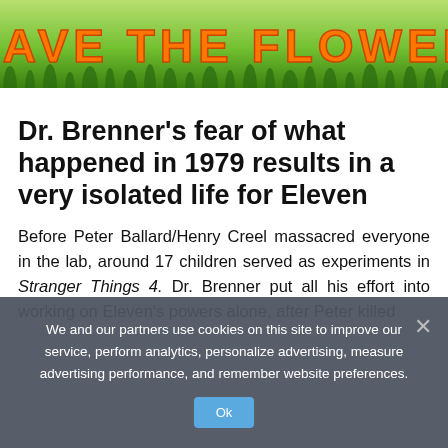[Figure (illustration): Banner image with green grass background and orange bold text reading 'SAVE THE FLOWER']
Dr. Brenner’s fear of what happened in 1979 results in a very isolated life for Eleven
Before Peter Ballard/Henry Creel massacred everyone in the lab, around 17 children served as experiments in Stranger Things 4. Dr. Brenner put all his effort into working on Eleven’s powers alone, after Peter killed
We and our partners use cookies on this site to improve our service, perform analytics, personalize advertising, measure advertising performance, and remember website preferences.